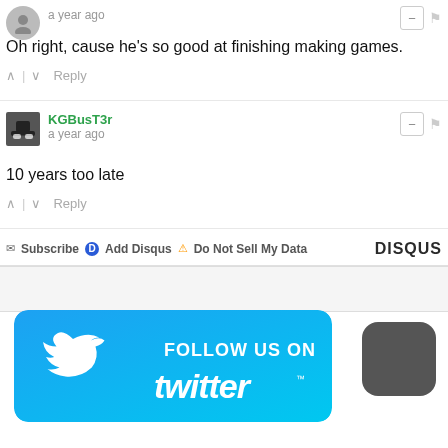a year ago
Oh right, cause he's so good at finishing making games.
^ | v  Reply
KGBusT3r
a year ago
10 years too late
^ | v  Reply
Subscribe  Add Disqus  Do Not Sell My Data  DISQUS
[Figure (illustration): Follow us on Twitter banner - blue rounded rectangle with Twitter bird logo and text 'FOLLOW US ON twitter']
[Figure (logo): Crescent/moon icon on dark gray rounded square background]